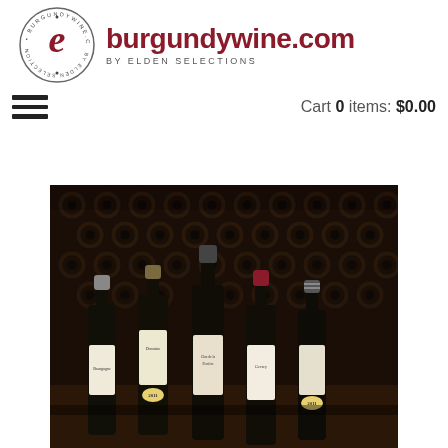[Figure (logo): burgundywine.com logo: circular badge with stylized 'e' in dark red and text 'BURGUNDYWINE.COM BY ELDEN SELECTIONS' around the border, next to the text 'burgundywine.com' in large dark red bold font and 'BY ELDEN SELECTIONS' in small spaced caps below]
Cart 0 items: $0.00
[Figure (photo): Photograph of multiple wine bottles standing in front of a wine rack filled with bottles stored horizontally. Five bottles are prominently displayed, some showing labels including 'Clos de la Perrière' and vintage years '2011'. The setting is a dark cellar with warm lighting.]